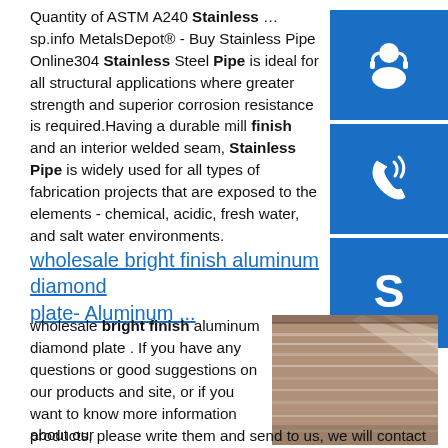Quantity of ASTM A240 Stainless …sp.info MetalsDepot® - Buy Stainless Pipe Online304 Stainless Steel Pipe is ideal for all structural applications where greater strength and superior corrosion resistance is required.Having a durable mill finish and an interior welded seam, Stainless Pipe is widely used for all types of fabrication projects that are exposed to the elements - chemical, acidic, fresh water, and salt water environments.
[Figure (illustration): Blue customer support icon with headset silhouette]
[Figure (illustration): Blue phone icon]
[Figure (illustration): Blue Skype icon]
wholesale bright finish aluminum diamond plate- Aluminum ...
wholesale bright finish aluminum diamond plate . If you have any questions or good suggestions on our products and site, or if you want to know more information about our products, please write them and send to us, we will contact
[Figure (photo): Photo of stacked metal plates/sheets in a warehouse or industrial setting]